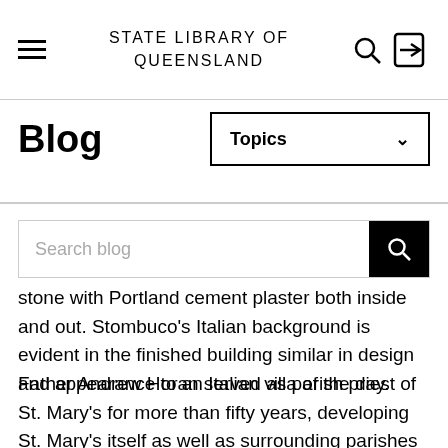STATE LIBRARY OF QUEENSLAND
Blog
stone with Portland cement plaster both inside and out. Stombuco's Italian background is evident in the finished building similar in design and appearance to an Italian villa of the day.
Father Andrew Horan served as parish priest of St. Mary's for more than fifty years, developing St. Mary's itself as well as surrounding parishes during his term. At the time of his